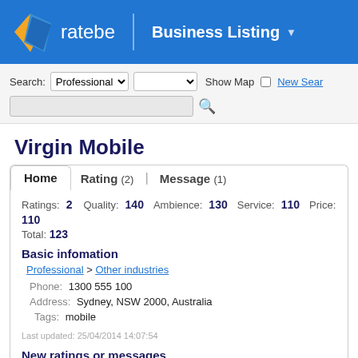[Figure (logo): Ratebe website header with orange and blue diamond logo, site name 'ratebe', and 'Business Listing' navigation link on blue background]
[Figure (screenshot): Search bar with Professional dropdown, empty second dropdown, Show Map checkbox, New Search link, and a search text input with magnifying glass button]
Virgin Mobile
Home | Rating (2) | Message (1)
Ratings: 2   Quality: 140   Ambience: 130   Service: 110   Price: 110
Total: 123
Basic infomation
Professional > Other industries
Phone: 1300 555 100
Address: Sydney, NSW 2000, Australia
Tags: mobile
Last updated: 25/04/2014 14:07:54
New ratings or messages